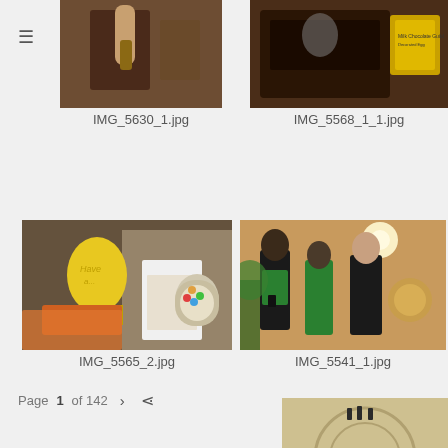[Figure (photo): Photo of a person holding something at a counter or bar, warm tones. Filename: IMG_5630_1.jpg]
IMG_5630_1.jpg
[Figure (photo): Photo of a display case with text and a yellow sign. Filename: IMG_5568_1_1.jpg]
IMG_5568_1_1.jpg
[Figure (photo): Photo of a candy/dessert shop display with a yellow balloon and jars of sweets. Filename: IMG_5565_2.jpg]
IMG_5565_2.jpg
[Figure (photo): Photo of police officers in a grand interior space. Filename: IMG_5541_1.jpg]
IMG_5541_1.jpg
Page 1 of 142  >  share
[Figure (photo): Partial photo of people in a grand interior space, bottom of page.]